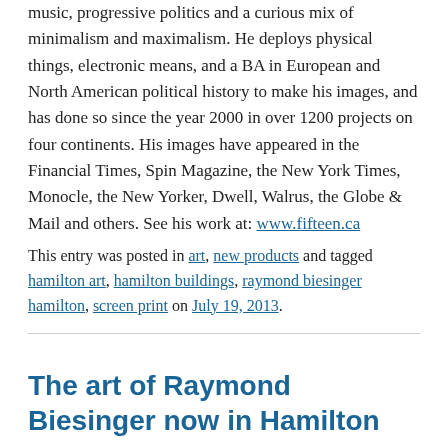music, progressive politics and a curious mix of minimalism and maximalism. He deploys physical things, electronic means, and a BA in European and North American political history to make his images, and has done so since the year 2000 in over 1200 projects on four continents. His images have appeared in the Financial Times, Spin Magazine, the New York Times, Monocle, the New Yorker, Dwell, Walrus, the Globe & Mail and others. See his work at: www.fifteen.ca
This entry was posted in art, new products and tagged hamilton art, hamilton buildings, raymond biesinger hamilton, screen print on July 19, 2013.
The art of Raymond Biesinger now in Hamilton